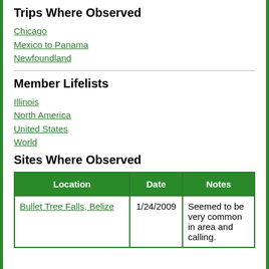Trips Where Observed
Chicago
Mexico to Panama
Newfoundland
Member Lifelists
Illinois
North America
United States
World
Sites Where Observed
| Location | Date | Notes |
| --- | --- | --- |
| Bullet Tree Falls, Belize | 1/24/2009 | Seemed to be very common in area and calling. |